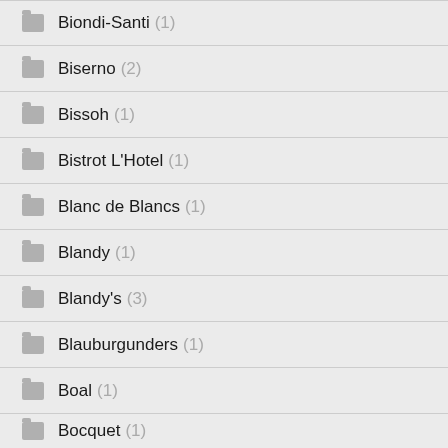Biondi-Santi (1)
Biserno (2)
Bissoh (1)
Bistrot L'Hotel (1)
Blanc de Blancs (1)
Blandy (1)
Blandy's (3)
Blauburgunders (1)
Boal (1)
Bocquet (1)